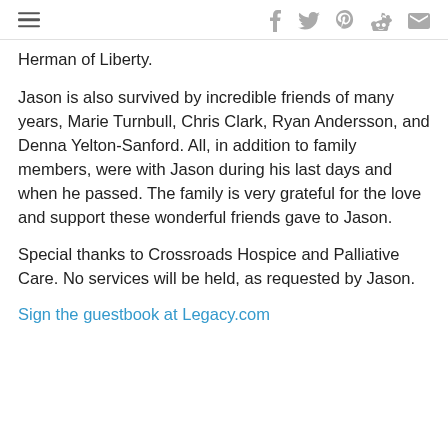Social share icons: facebook, twitter, pinterest, reddit, email
Herman of Liberty.
Jason is also survived by incredible friends of many years, Marie Turnbull, Chris Clark, Ryan Andersson, and Denna Yelton-Sanford. All, in addition to family members, were with Jason during his last days and when he passed. The family is very grateful for the love and support these wonderful friends gave to Jason.
Special thanks to Crossroads Hospice and Palliative Care. No services will be held, as requested by Jason.
Sign the guestbook at Legacy.com